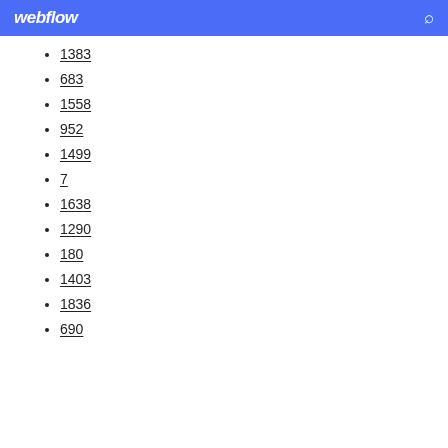webflow
1383
683
1558
952
1499
7
1638
1290
180
1403
1836
690